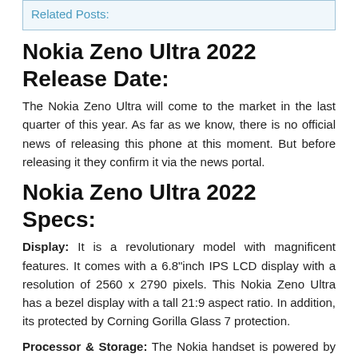Related Posts:
Nokia Zeno Ultra 2022 Release Date:
The Nokia Zeno Ultra will come to the market in the last quarter of this year. As far as we know, there is no official news of releasing this phone at this moment. But before releasing it they confirm it via the news portal.
Nokia Zeno Ultra 2022 Specs:
Display: It is a revolutionary model with magnificent features. It comes with a 6.8"inch IPS LCD display with a resolution of 2560 x 2790 pixels. This Nokia Zeno Ultra has a bezel display with a tall 21:9 aspect ratio. In addition, its protected by Corning Gorilla Glass 7 protection.
Processor & Storage: The Nokia handset is powered by the Qualcomm Snapdragon 888 5G chipset. Also, the Smartphone will be available in different storage options after its launch. It includes